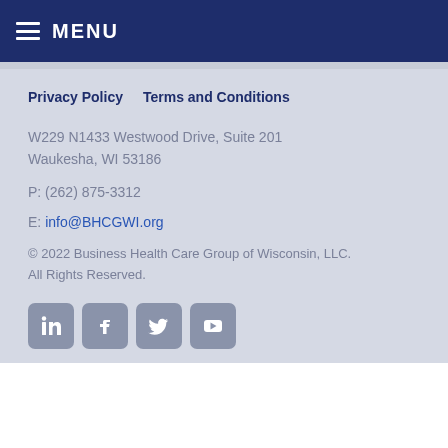MENU
Privacy Policy    Terms and Conditions
W229 N1433 Westwood Drive, Suite 201
Waukesha, WI 53186
P: (262) 875-3312
E: info@BHCGWI.org
© 2022 Business Health Care Group of Wisconsin, LLC. All Rights Reserved.
[Figure (other): Social media icons: LinkedIn, Facebook, Twitter, YouTube]